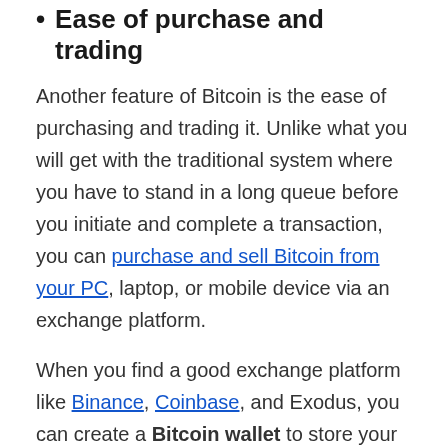• Ease of purchase and trading
Another feature of Bitcoin is the ease of purchasing and trading it. Unlike what you will get with the traditional system where you have to stand in a long queue before you initiate and complete a transaction, you can purchase and sell Bitcoin from your PC, laptop, or mobile device via an exchange platform.
When you find a good exchange platform like Binance, Coinbase, and Exodus, you can create a Bitcoin wallet to store your coin and trade it when the market is favorable to you.
Bitcoin and Small Businesses